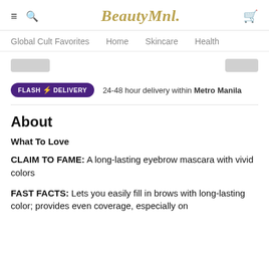BeautyMnl.
Global Cult Favorites  Home  Skincare  Health
FLASH DELIVERY  24-48 hour delivery within Metro Manila
About
What To Love
CLAIM TO FAME: A long-lasting eyebrow mascara with vivid colors
FAST FACTS: Lets you easily fill in brows with long-lasting color; provides even coverage, especially on